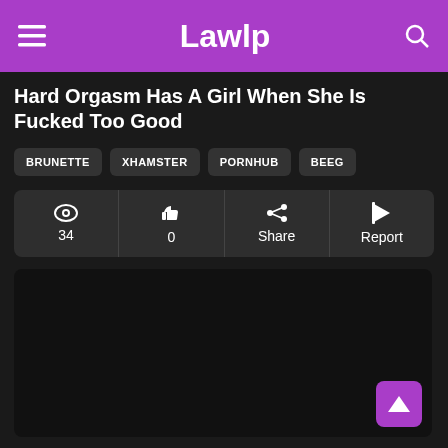Lawlp
Hard Orgasm Has A Girl When She Is Fucked Too Good
BRUNETTE
XHAMSTER
PORNHUB
BEEG
34 | 0 | Share | Report
[Figure (screenshot): Black video player area]